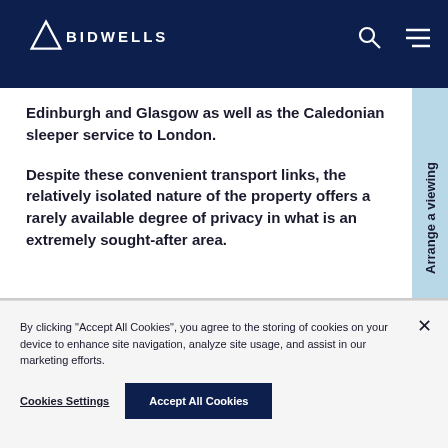BIDWELLS
Edinburgh and Glasgow as well as the Caledonian sleeper service to London.
Despite these convenient transport links, the relatively isolated nature of the property offers a rarely available degree of privacy in what is an extremely sought-after area.
Arrange a viewing
By clicking "Accept All Cookies", you agree to the storing of cookies on your device to enhance site navigation, analyze site usage, and assist in our marketing efforts.
Cookies Settings
Accept All Cookies